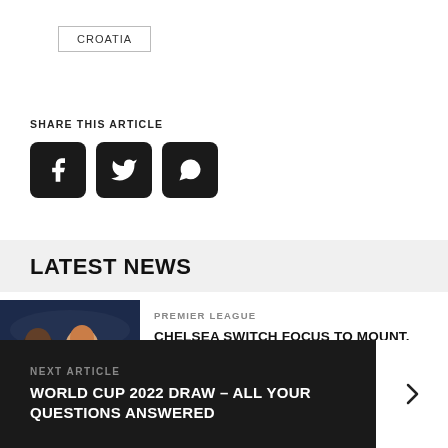CROATIA
SHARE THIS ARTICLE
[Figure (infographic): Three social media share buttons: Facebook, Twitter, WhatsApp — dark rounded squares with white icons]
LATEST NEWS
[Figure (photo): Two Chelsea football players celebrating]
PREMIER LEAGUE
CHELSEA SWITCH FOCUS TO MOUNT, LIVERPOOL TARGET SET TO SIGN NEW DEAL – PAPER ROUND
NEXT ARTICLE
WORLD CUP 2022 DRAW – ALL YOUR QUESTIONS ANSWERED